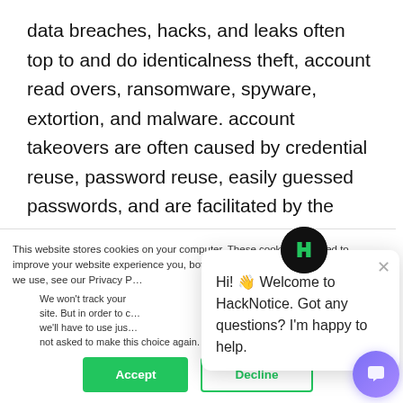data breaches, hacks, and leaks often top to and do identicalness theft, account read overs, ransomware, spyware, extortion, and malware. account takeovers are often caused by credential reuse, password reuse, easily guessed passwords, and are facilitated by the sharing of billions of credentials and other customer information through data leaks, as the direct outcome of data breaches and hacks.
This website stores cookies on your computer. These cookies are used to improve your website experience you, both on this website and through cookies we use, see our Privacy P...
We won't track your site. But in order to we'll have to use jus not asked to make this choice again.
[Figure (other): Accept and Decline cookie consent buttons; green Accept button and outlined Decline button]
[Figure (screenshot): HackNotice chat widget popup with avatar logo and message: Hi! Welcome to HackNotice. Got any questions? I'm happy to help.]